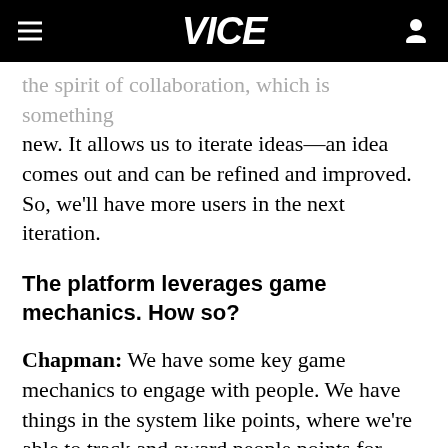VICE
the spirit of collaboration, which is something new. It allows us to iterate ideas—an idea comes out and can be refined and improved. So, we'll have more users in the next iteration.
The platform leverages game mechanics. How so?
Chapman: We have some key game mechanics to engage with people. We have things in the system like points, where we're able to track and award people points for submitting an idea, as well as put in a comment or vote on an idea. There are a couple of leader boards, so people